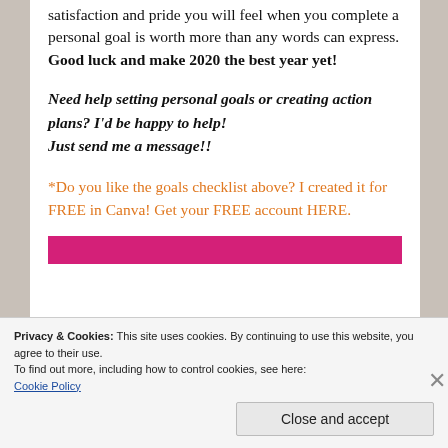satisfaction and pride you will feel when you complete a personal goal is worth more than any words can express. Good luck and make 2020 the best year yet!
Need help setting personal goals or creating action plans? I'd be happy to help! Just send me a message!!
*Do you like the goals checklist above? I created it for FREE in Canva! Get your FREE account HERE.
Privacy & Cookies: This site uses cookies. By continuing to use this website, you agree to their use. To find out more, including how to control cookies, see here: Cookie Policy
Close and accept